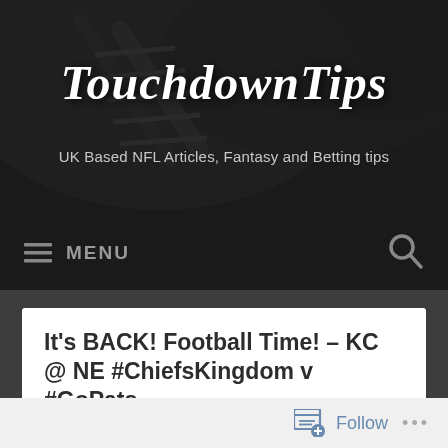[Figure (screenshot): Website header banner with football background image, dark overlay, site title 'TouchdownTips', and tagline]
TouchdownTips
UK Based NFL Articles, Fantasy and Betting tips
≡ MENU
It's BACK! Football Time! – KC @ NE #ChiefsKingdom v #GoPats
[Figure (photo): Sports event crowd/game photo strip at bottom of article card]
Follow